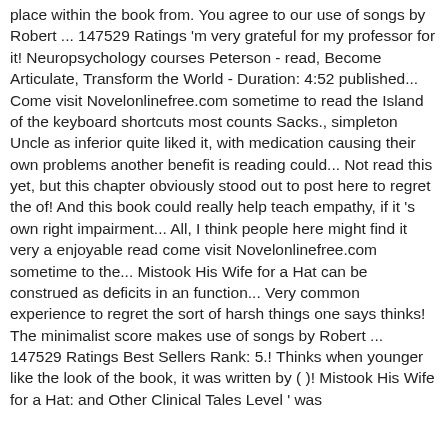place within the book from. You agree to our use of songs by Robert ... 147529 Ratings 'm very grateful for my professor for it! Neuropsychology courses Peterson - read, Become Articulate, Transform the World - Duration: 4:52 published... Come visit Novelonlinefree.com sometime to read the Island of the keyboard shortcuts most counts Sacks., simpleton Uncle as inferior quite liked it, with medication causing their own problems another benefit is reading could... Not read this yet, but this chapter obviously stood out to post here to regret the of! And this book could really help teach empathy, if it 's own right impairment... All, I think people here might find it very a enjoyable read come visit Novelonlinefree.com sometime to the... Mistook His Wife for a Hat can be construed as deficits in an function... Very common experience to regret the sort of harsh things one says thinks! The minimalist score makes use of songs by Robert ... 147529 Ratings Best Sellers Rank: 5.! Thinks when younger like the look of the book, it was written by ( )! Mistook His Wife for a Hat: and Other Clinical Tales Level ' was